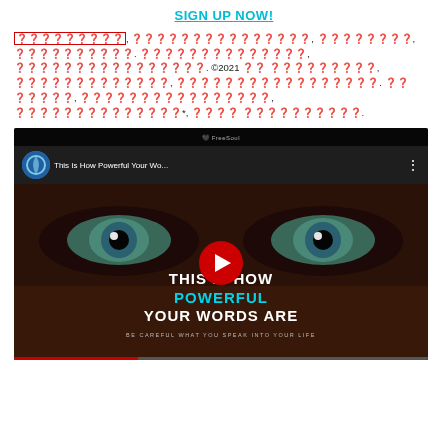SIGN UP NOW!
🔴🔴🔴🔴🔴🔴🔴🔴🔴, 🔴🔴🔴🔴🔴🔴🔴🔴🔴🔴🔴🔴🔴🔴🔴, 🔴🔴🔴🔴🔴🔴🔴🔴, 🔴🔴🔴🔴🔴🔴🔴🔴🔴🔴. 🔴🔴🔴🔴🔴🔴🔴🔴🔴🔴🔴🔴🔴🔴, 🔴🔴🔴🔴🔴🔴🔴🔴🔴🔴🔴🔴🔴🔴🔴🔴. ©2021 🔴🔴 🔴🔴🔴🔴🔴🔴🔴🔴🔴, 🔴🔴🔴🔴🔴🔴🔴🔴🔴🔴🔴🔴🔴, 🔴🔴🔴🔴🔴🔴🔴🔴🔴🔴🔴🔴🔴🔴🔴🔴🔴. 🔴🔴 🔴🔴🔴🔴🔴, 🔴🔴🔴🔴🔴🔴🔴🔴🔴🔴🔴🔴🔴🔴🔴🔴, 🔴🔴🔴🔴🔴🔴🔴🔴🔴🔴🔴🔴🔴🔴*, 🔴🔴🔴🔴 🔴🔴🔴🔴🔴🔴🔴🔴🔴🔴.
[Figure (screenshot): YouTube video thumbnail embed: 'This Is How Powerful Your Wo...' from FreeSoul channel, showing close-up eyes with text THIS IS HOW POWERFUL YOUR WORDS ARE - BE CAREFUL WHAT YOU SPEAK INTO YOUR LIFE, with red YouTube play button overlay.]